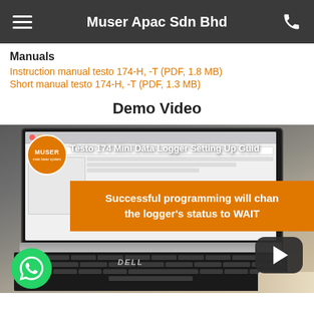Muser Apac Sdn Bhd
Manuals
Instruction manual testo 174-H, -T  (PDF, 1.8 MB)
Short manual testo 174-H, -T  (PDF, 1.3 MB)
Demo Video
[Figure (screenshot): Video thumbnail showing a laptop screen with Muser Apac Sdn Bhd branding. Title reads 'Testo 174 Mini Data Logger Setting Up Guide'. An orange banner overlay reads 'Successful programming will change the logger's status to WAIT'. A YouTube-style play button is visible at lower right. A WhatsApp button is at lower left.]